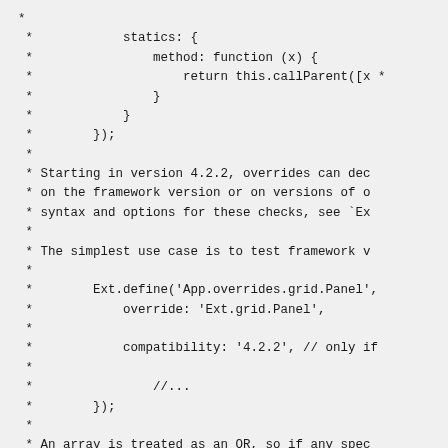*
 *            statics: {
 *                method: function (x) {
 *                    return this.callParent([x *
 *                }
 *            }
 *        });
 *
 * Starting in version 4.2.2, overrides can dec
 * on the framework version or on versions of o
 * syntax and options for these checks, see `Ex
 *
 * The simplest use case is to test framework v
 *
 *        Ext.define('App.overrides.grid.Panel',
 *            override: 'Ext.grid.Panel',
 *
 *            compatibility: '4.2.2', // only if
 *
 *                //...
 *        });
 *
 * An array is treated as an OR, so if any spec
 * compatible.